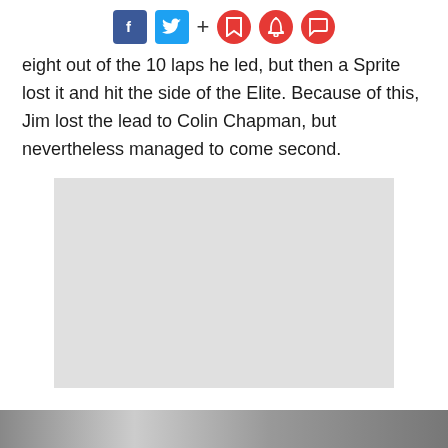[Figure (other): Social media sharing icons: Facebook (blue square), Twitter (blue square), plus sign, and three red circle icons (bookmark, bell, chat)]
eight out of the 10 laps he led, but then a Sprite lost it and hit the side of the Elite. Because of this, Jim lost the lead to Colin Chapman, but nevertheless managed to come second.
[Figure (other): Light gray placeholder rectangle for an embedded image or advertisement]
[Figure (photo): Partial black and white photograph visible at the bottom of the page]